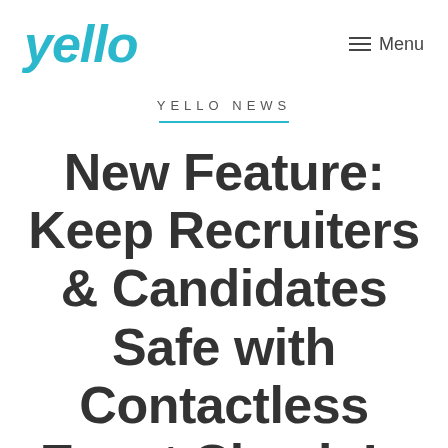yello   Menu
YELLO NEWS
New Feature: Keep Recruiters & Candidates Safe with Contactless Event Check-In